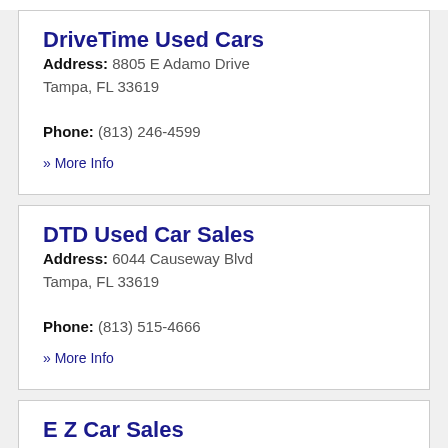DriveTime Used Cars
Address: 8805 E Adamo Drive Tampa, FL 33619
Phone: (813) 246-4599
» More Info
DTD Used Car Sales
Address: 6044 Causeway Blvd Tampa, FL 33619
Phone: (813) 515-4666
» More Info
E Z Car Sales